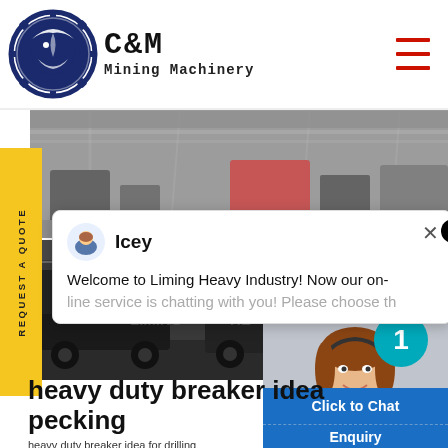[Figure (logo): C&M Mining Machinery logo with eagle in gear circle]
C&M Mining Machinery
[Figure (photo): Factory interior with industrial equipment]
[Figure (photo): Heavy dump trucks in industrial facility with Liming watermark]
REQUEST A QUOTE
Icey
Welcome to Liming Heavy Industry! Now our on-line service is chatting with you! Please choose th
[Figure (photo): Customer service agent woman with headset]
Click to Chat
Enquiry
heavy duty breaker idea pecking
heavy duty breaker idea for drilling